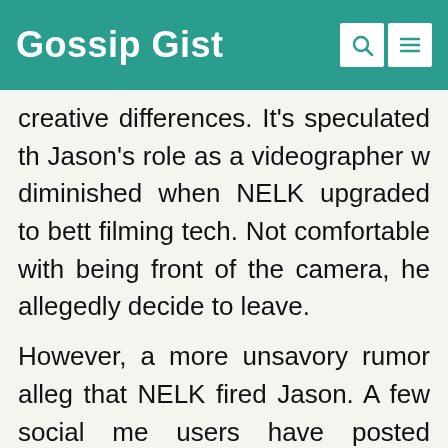Gossip Gist
creative differences. It's speculated that Jason's role as a videographer was diminished when NELK upgraded to better filming tech. Not comfortable with being in front of the camera, he allegedly decided to leave.
However, a more unsavory rumor alleges that NELK fired Jason. A few social media users have posted unverified claims about Jason having to do with Steve's recent breakup with Celina Smith. The allegation originate from an unknown source, a...